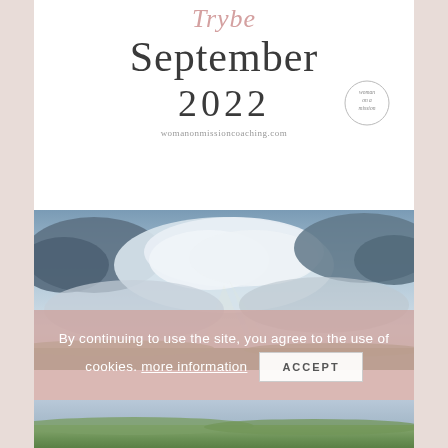Trybe
September
2022
[Figure (logo): Circular badge/logo with text 'woman on a mission' in script]
womanonmissioncoaching.com
[Figure (photo): Dramatic sky with clouds, sunlight breaking through, and green landscape at bottom]
By continuing to use the site, you agree to the use of cookies. more information ACCEPT